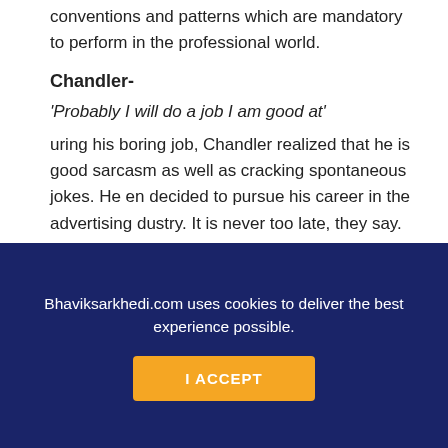conventions and patterns which are mandatory to perform in the professional world.
Chandler-
'Probably I will do a job I am good at'
uring his boring job, Chandler realized that he is good sarcasm as well as cracking spontaneous jokes. He en decided to pursue his career in the advertising dustry. It is never too late, they say. Entrepreneurs ould not bump in any commercial section. They
Bhaviksarkhedi.com uses cookies to deliver the best experience possible.
I ACCEPT